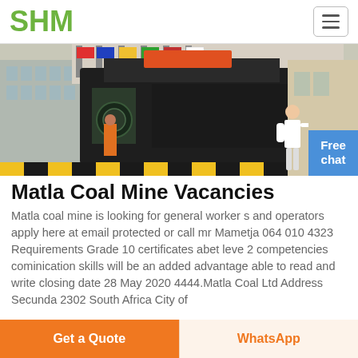SHM
[Figure (photo): Industrial mining machine (crusher/shredder) in a facility with international flags in the background, with yellow-black hazard striping at the bottom. A worker in orange overalls is visible near the machine.]
Matla Coal Mine Vacancies
Matla coal mine is looking for general worker s and operators apply here at email protected or call mr Mametja 064 010 4323 Requirements Grade 10 certificates abet leve 2 competencies cominication skills will be an added advantage able to read and write closing date 28 May 2020 4444.Matla Coal Ltd Address Secunda 2302 South Africa City of
Get a Quote | WhatsApp